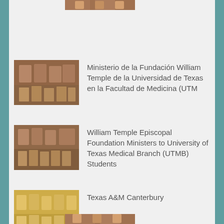[Figure (photo): Partial group photo at top, cropped]
Ministerio de la Fundación William Temple de la Universidad de Texas en la Facultad de Medicina (UTM
William Temple Episcopal Foundation Ministers to University of Texas Medical Branch (UTMB) Students
Texas A&M Canterbury
[Figure (photo): Partial group photo at bottom, cropped]